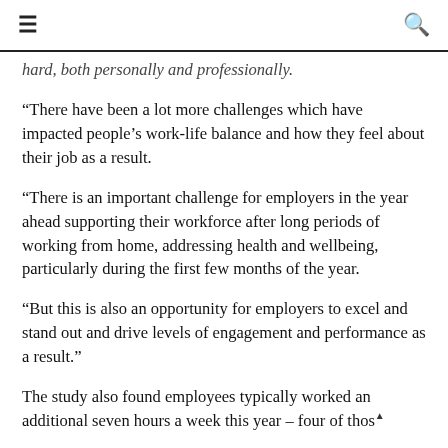≡  🔍
hard, both personally and professionally.
“There have been a lot more challenges which have impacted people’s work-life balance and how they feel about their job as a result.
“There is an important challenge for employers in the year ahead supporting their workforce after long periods of working from home, addressing health and wellbeing, particularly during the first few months of the year.
“But this is also an opportunity for employers to excel and stand out and drive levels of engagement and performance as a result.”
The study also found employees typically worked an additional seven hours a week this year – four of those